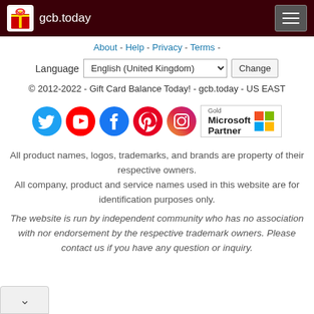gcb.today
About - Help - Privacy - Terms -
Language  English (United Kingdom)  Change
© 2012-2022 - Gift Card Balance Today! - gcb.today - US EAST
[Figure (logo): Social media icons (Twitter, YouTube, Facebook, Pinterest, Instagram) and Gold Microsoft Partner badge]
All product names, logos, trademarks, and brands are property of their respective owners.
All company, product and service names used in this website are for identification purposes only.
The website is run by independent community who has no association with nor endorsement by the respective trademark owners. Please contact us if you have any question or inquiry.